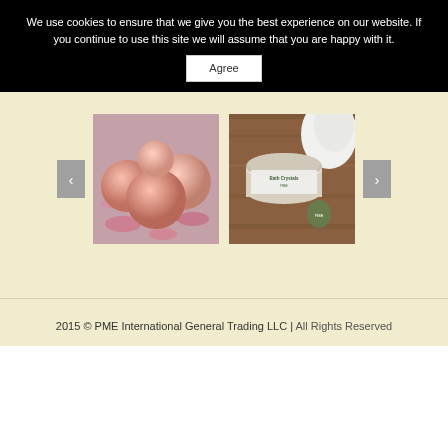We use cookies to ensure that we give you the best experience on our website. If you continue to use this site we will assume that you are happy with it.
Agree
[Figure (photo): Two product photos in a carousel: left shows pink/orange Himalayan salt massage balls on a floral background; right shows a jar of Bath Crystals by PME on a wooden surface with a white towel.]
2015 © PME International General Trading LLC | All Rights Reserved